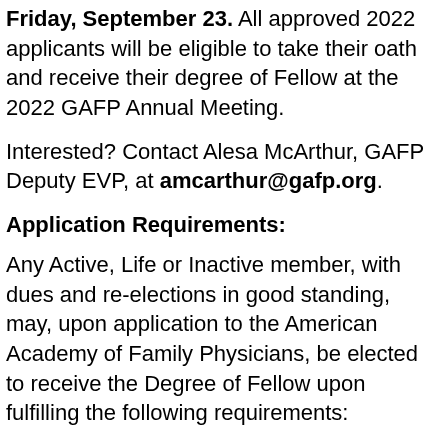Friday, September 23. All approved 2022 applicants will be eligible to take their oath and receive their degree of Fellow at the 2022 GAFP Annual Meeting.
Interested? Contact Alesa McArthur, GAFP Deputy EVP, at amcarthur@gafp.org.
Application Requirements:
Any Active, Life or Inactive member, with dues and re-elections in good standing, may, upon application to the American Academy of Family Physicians, be elected to receive the Degree of Fellow upon fulfilling the following requirements:
1.Member must have held Active membership for six years or held a combination of Resident and Active